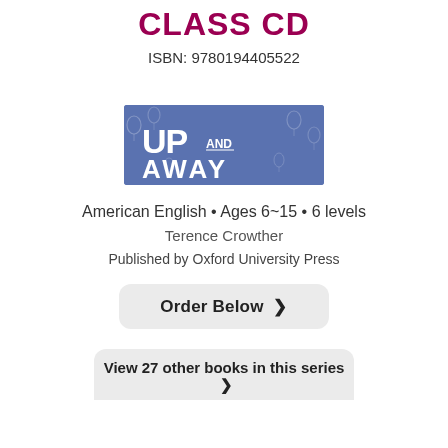CLASS CD
ISBN: 9780194405522
[Figure (illustration): Book cover for 'Up and Away' series showing blue background with hot air balloons and bold white text reading 'UP AND AWAY']
American English • Ages 6~15 • 6 levels
Terence Crowther
Published by Oxford University Press
Order Below ❯
View 27 other books in this series ❯